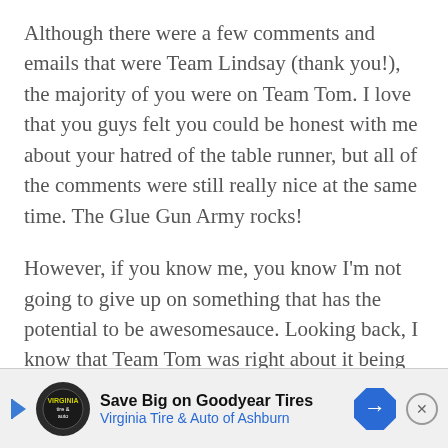Although there were a few comments and emails that were Team Lindsay (thank you!), the majority of you were on Team Tom. I love that you guys felt you could be honest with me about your hatred of the table runner, but all of the comments were still really nice at the same time. The Glue Gun Army rocks!
However, if you know me, you know I'm not going to give up on something that has the potential to be awesomesauce. Looking back, I know that Team Tom was right about it being too much.  So drawing from some of your comments, I set out to make another knotted table runner for that piece of furniture.
[Figure (other): Advertisement banner for Virginia Tire & Auto of Ashburn featuring Goodyear Tires promotion with play/skip icon, circular logo, text 'Save Big on Goodyear Tires / Virginia Tire & Auto of Ashburn', a blue diamond arrow icon, and a close (X) button.]